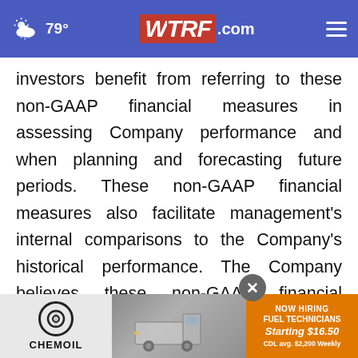79° WTRF.com
investors benefit from referring to these non-GAAP financial measures in assessing Company performance and when planning and forecasting future periods. These non-GAAP financial measures also facilitate management's internal comparisons to the Company's historical performance. The Company believes these non-GAAP financial measures are also useful to investors in allowing for greater trans[parency and supplemental]ental infor[mation provided by the Com]pany
[Figure (screenshot): Chemoil advertisement banner with logo, truck image, and 'Now Hiring Fuel Technicians Starting $16.50 CDL avg. $2,200 Weekly' text on orange background]